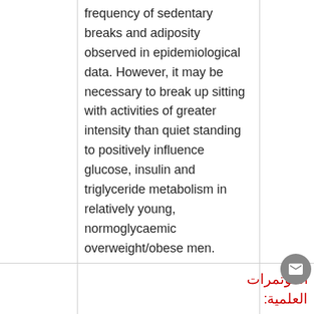|  |  |  |
| --- | --- | --- |
|  | frequency of sedentary breaks and adiposity observed in epidemiological data. However, it may be necessary to break up sitting with activities of greater intensity than quiet standing to positively influence glucose, insulin and triglyceride metabolism in relatively young, normoglycaemic overweight/obese men. |  |
|  |  | المؤتمرات العلمية: |
|  |  |  |